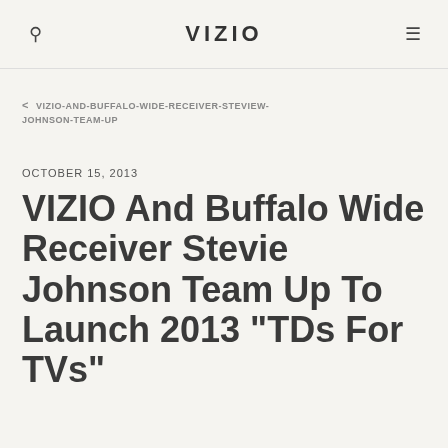VIZIO
< VIZIO-AND-BUFFALO-WIDE-RECEIVER-STEVIEW-JOHNSON-TEAM-UP
OCTOBER 15, 2013
VIZIO And Buffalo Wide Receiver Stevie Johnson Team Up To Launch 2013 "TDs For TVs"